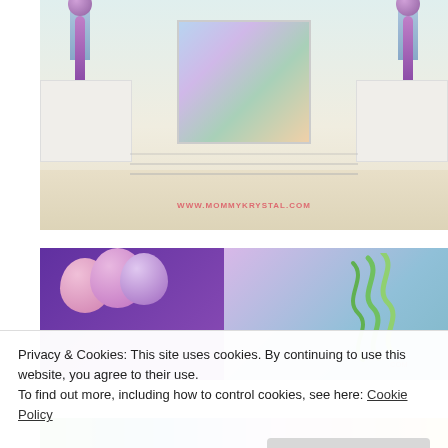[Figure (photo): Party hall decorated with purple balloon pillars, blue fringe garlands, colorful backdrop, rows of silver chiavari chairs, and white draped tables. Watermark reads WWW.MOMMYKRYSTAL.COM]
[Figure (photo): Close-up of pink and purple balloon cluster with green curly balloon ribbons and colorful party decorations in background. Partial watermark .COM visible.]
Privacy & Cookies: This site uses cookies. By continuing to use this website, you agree to their use.
To find out more, including how to control cookies, see here: Cookie Policy
[Figure (photo): Bottom strip of colorful party decorations photo, partially obscured by cookie notice.]